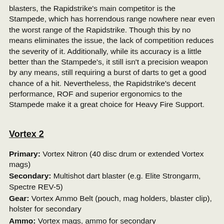blasters, the Rapidstrike's main competitor is the Stampede, which has horrendous range nowhere near even the worst range of the Rapidstrike. Though this by no means eliminates the issue, the lack of competition reduces the severity of it. Additionally, while its accuracy is a little better than the Stampede's, it still isn't a precision weapon by any means, still requiring a burst of darts to get a good chance of a hit. Nevertheless, the Rapidstrike's decent performance, ROF and superior ergonomics to the Stampede make it a great choice for Heavy Fire Support.
Vortex 2
Primary: Vortex Nitron (40 disc drum or extended Vortex mags)
Secondary: Multishot dart blaster (e.g. Elite Strongarm, Spectre REV-5)
Gear: Vortex Ammo Belt (pouch, mag holders, blaster clip), holster for secondary
Ammo: Vortex mags, ammo for secondary
Purpose: To give the user the ability to spam discs without